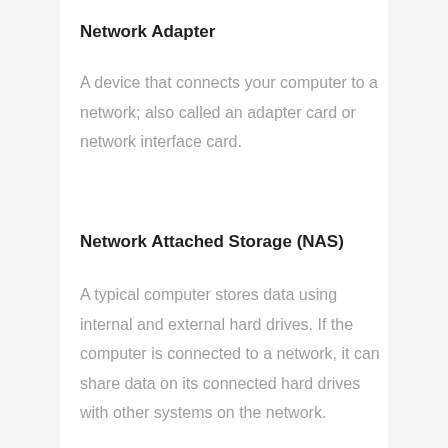Network Adapter
A device that connects your computer to a network; also called an adapter card or network interface card.
Network Attached Storage (NAS)
A typical computer stores data using internal and external hard drives. If the computer is connected to a network, it can share data on its connected hard drives with other systems on the network.